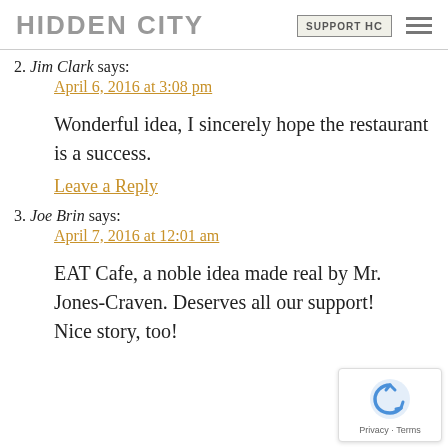HIDDEN CITY | SUPPORT HC
2. Jim Clark says: April 6, 2016 at 3:08 pm

Wonderful idea, I sincerely hope the restaurant is a success.

Leave a Reply
3. Joe Brin says: April 7, 2016 at 12:01 am

EAT Cafe, a noble idea made real by Mr. Jones-Craven. Deserves all our support!
Nice story, too!